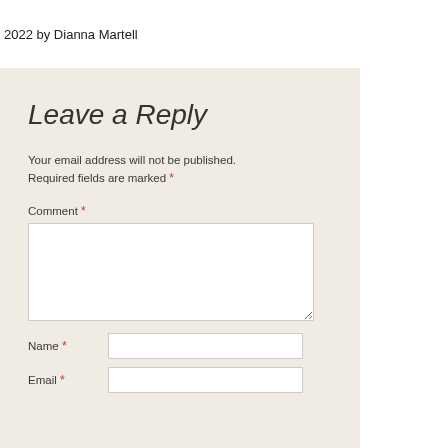2022 by Dianna Martell
Leave a Reply
Your email address will not be published. Required fields are marked *
Comment *
Name *
Email *